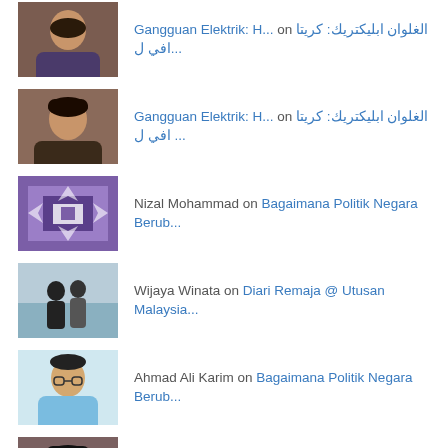Gangguan Elektrik: H... on الغلوان ابليكتريك: كريتا افي‌ ل ...
Nizal Mohammad on Bagaimana Politik Negara Berub...
Wijaya Winata on Diari Remaja @ Utusan Malaysia...
Ahmad Ali Karim on Bagaimana Politik Negara Berub...
كالاو بوكن محي الدين... on Kalau bukan Muhyiddin, siapa l...
Recent Posts
Photos – 2022 IIUM Rector's Cup Final & Closing Ceremony Fri, 19th Aug, 2022